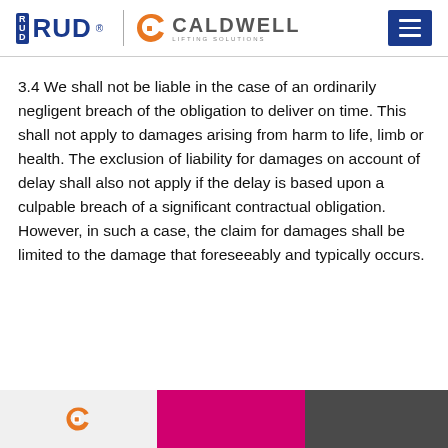RUD Caldwell Lifting Solutions
3.4 We shall not be liable in the case of an ordinarily negligent breach of the obligation to deliver on time. This shall not apply to damages arising from harm to life, limb or health. The exclusion of liability for damages on account of delay shall also not apply if the delay is based upon a culpable breach of a significant contractual obligation. However, in such a case, the claim for damages shall be limited to the damage that foreseeably and typically occurs.